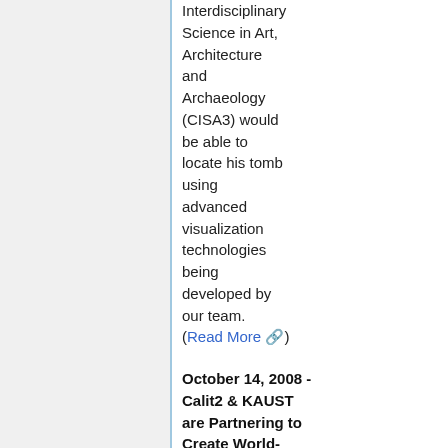Interdisciplinary Science in Art, Architecture and Archaeology (CISA3) would be able to locate his tomb using advanced visualization technologies being developed by our team. (Read More)
October 14, 2008 - Calit2 & KAUST are Partnering to Create World-Class Visualization and Virtual Reality Research and